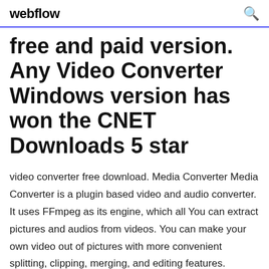webflow
free and paid version. Any Video Converter Windows version has won the CNET Downloads 5 star
video converter free download. Media Converter Media Converter is a plugin based video and audio converter. It uses FFmpeg as its engine, which all You can extract pictures and audios from videos. You can make your own video out of pictures with more convenient splitting, clipping, merging, and editing features. Weeny Free Video Converter Download - Free video converter software to convert video files between many formats without watermark or duration limitation - 100%